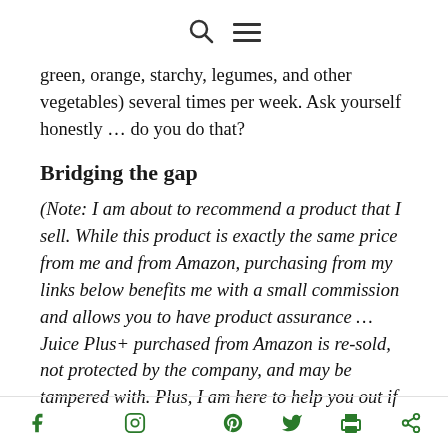[search icon] [menu icon]
green, orange, starchy, legumes, and other vegetables) several times per week.  Ask yourself honestly … do you do that?
Bridging the gap
(Note: I am about to recommend a product that I sell.  While this product is exactly the same price from me and from Amazon, purchasing from my links below benefits me with a small commission and allows you to have product assurance … Juice Plus+ purchased from Amazon is re-sold, not protected by the company, and may be tampered with.  Plus, I am here to help you out if
[facebook] [instagram] [pinterest] [twitter] [print] [share]